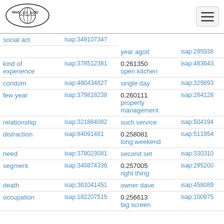[Figure (logo): WebisaLOD logo with globe and oval border]
| Term | ID (left) | Score / Term (right) | ID (right) |
| --- | --- | --- | --- |
| social act | isap:349107347 | year agoit | isap:295938 |
| kind of experience | isap:378512381 | 0.261350
open kitchen | isap:483643 |
| condom | isap:480434827 | single day | isap:329893 |
| few year | isap:379818238 | 0.260111
property management | isap:284128 |
| relationship | isap:321884082 | such service | isap:504194 |
| distraction | isap:84091481 | 0.258081
long weekend | isap:511954 |
| need | isap:378023081 | second set | isap:330310 |
| segment | isap:340874336 | 0.257005
right thing | isap:295200 |
| death | isap:361041451 | owner dave | isap:458089 |
| occupation | isap:182207515 | 0.256613
big screen | isap:100975 |